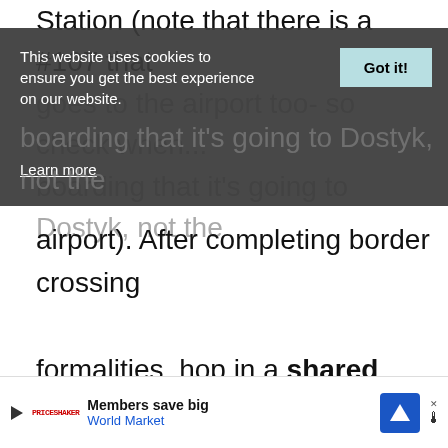Station (note that there is a #107 that goes to the airport too- so check when boarding that it's going to Dostyk, not the airport). After completing border crossing formalities, hop in a shared taxi bound for Andijan for 15,000 UZS per seat or charter the whole car for 60,000 UZS.
Note that I've included information on
[Figure (screenshot): Cookie consent banner overlay with dark background, text 'This website uses cookies to ensure you get the best experience on our website.' with 'Learn more' link and 'Got it!' button]
[Figure (screenshot): Scroll-to-top teal button with upward chevron arrow, positioned bottom-right]
[Figure (screenshot): Bottom advertisement banner for World Market: 'Members save big' with navigation icon and close button]